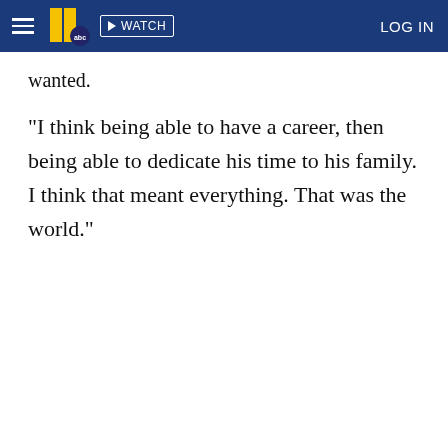WATCH   LOG IN
wanted.
"I think being able to have a career, then being able to dedicate his time to his family. I think that meant everything. That was the world."